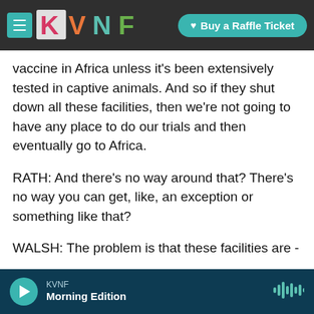[Figure (screenshot): KVNF website top navigation bar with hamburger menu icon, KVNF colorful logo (letters K V N F in pink, orange, green, teal triangles), and a teal 'Buy a Raffle Ticket' button with heart icon, overlaid on a dark rocky background.]
vaccine in Africa unless it's been extensively tested in captive animals. And so if they shut down all these facilities, then we're not going to have any place to do our trials and then eventually go to Africa.
RATH: And there's no way around that? There's no way you can get, like, an exception or something like that?
WALSH: The problem is that these facilities are - were set up for human biomedical research to develop vaccines and drugs for humans. And if
KVNF Morning Edition